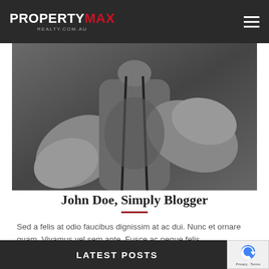PROPERTY MAX REALTY.COM.AU
[Figure (photo): Black and white photo of a person's torso holding jump rope handles with arms/elbows visible]
John Doe, Simply Blogger
Sed a felis at odio faucibus dignissim at ac dui. Nunc et ornare quam. Vivamus vel sem ante. Fusce ac neque felis.
LATEST POSTS